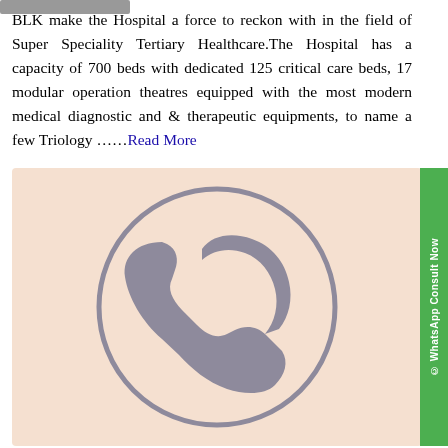BLK make the Hospital a force to reckon with in the field of Super Speciality Tertiary Healthcare.The Hospital has a capacity of 700 beds with dedicated 125 critical care beds, 17 modular operation theatres equipped with the most modern medical diagnostic and & therapeutic equipments, to name a few Triology ……Read More
[Figure (illustration): A large phone/telephone handset icon in grey/mauve color centered inside a circle outline, on a light peach/beige background. Represents a contact/call icon.]
© WhatsApp Consult Now